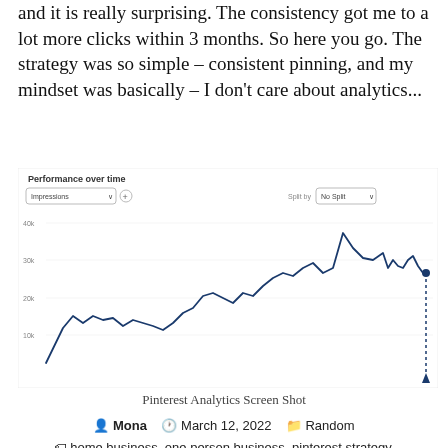and it is really surprising. The consistency got me to a lot more clicks within 3 months. So here you go. The strategy was so simple – consistent pinning, and my mindset was basically – I don't care about analytics...
[Figure (screenshot): Pinterest Analytics Screen Shot showing a line chart of Impressions over time, with an upward trend from about 10k to 40k impressions, with controls for Impressions dropdown and Split by No Split dropdown.]
Pinterest Analytics Screen Shot
Mona   March 12, 2022   Random
home business, one person business, pinterest strategy, working from home
Leave a comment